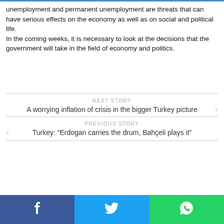unemployment and permanent unemployment are threats that can have serious effects on the economy as well as on social and political life.
In the coming weeks, it is necessary to look at the decisions that the government will take in the field of economy and politics.
NEXT STORY
A worrying inflation of crisis in the bigger Turkey picture
PREVIOUS STORY
Turkey: “Erdogan carries the drum, Bahçeli plays it”
[Figure (other): Social share bar with Facebook (blue), Twitter (cyan), and WhatsApp (green) icons]